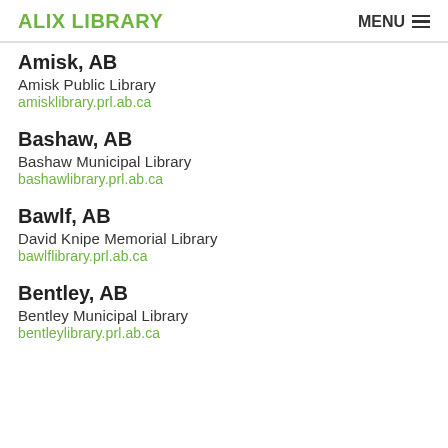ALIX LIBRARY  MENU
Amisk, AB
Amisk Public Library
amisklibrary.prl.ab.ca
Bashaw, AB
Bashaw Municipal Library
bashawlibrary.prl.ab.ca
Bawlf, AB
David Knipe Memorial Library
bawlflibrary.prl.ab.ca
Bentley, AB
Bentley Municipal Library
bentleylibrary.prl.ab.ca